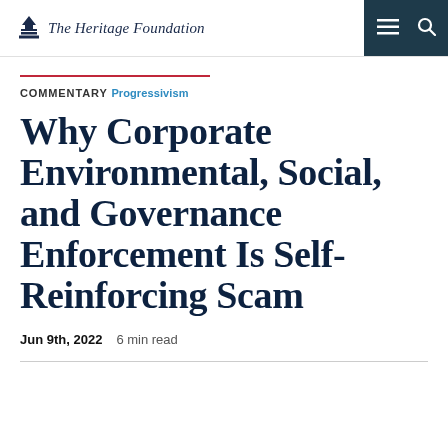The Heritage Foundation
COMMENTARY Progressivism
Why Corporate Environmental, Social, and Governance Enforcement Is Self-Reinforcing Scam
Jun 9th, 2022   6 min read